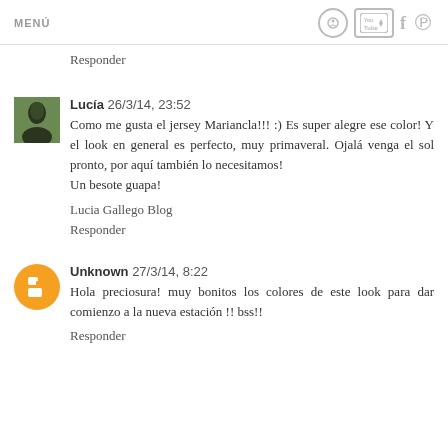MENÚ
Responder
[Figure (photo): Small avatar photo of Lucia, woman with dark hair against green foliage background]
Lucía 26/3/14, 23:52
Como me gusta el jersey Mariancla!!! :) Es super alegre ese color! Y el look en general es perfecto, muy primaveral. Ojalá venga el sol pronto, por aquí también lo necesitamos!
Un besote guapa!

Lucia Gallego Blog

Responder
[Figure (logo): Orange circular Blogger icon with white B letter]
Unknown 27/3/14, 8:22
Hola preciosura! muy bonitos los colores de este look para dar comienzo a la nueva estación !! bss!!

Responder